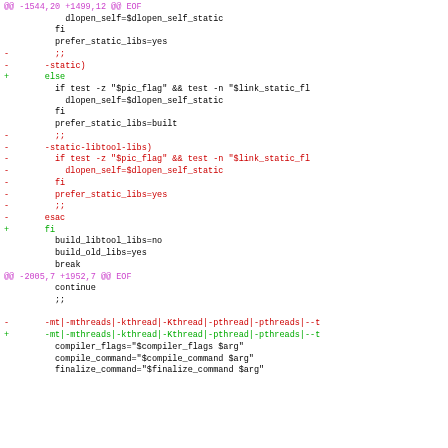[Figure (other): Unified diff output showing code changes in a shell script related to static library linking options. Hunk headers in magenta, removed lines in red prefixed with -, added lines in green prefixed with +, context lines in black.]